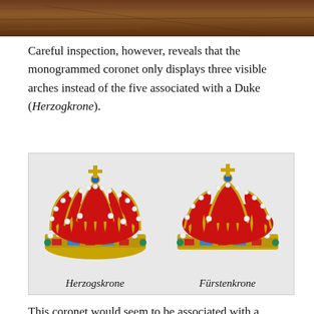[Figure (photo): Top portion of a brown/leather textured surface — partial image cropped at top of page]
Careful inspection, however, reveals that the monogrammed coronet only displays three visible arches instead of the five associated with a Duke (Herzogkrone).
[Figure (illustration): Side-by-side illustration of two German noble crowns on a grey background. Left crown labeled 'Herzogskrone' (Duke's crown) with five arches. Right crown labeled 'Fürstenkrone' (Prince's crown) with three arches. Both crowns are gold with red velvet, white pearls, colored gemstones, and topped with a cross.]
This coronet would seem to be associated with a princely house, the non-reigning descendants of a Fürst titled and referred to in German as Prinz